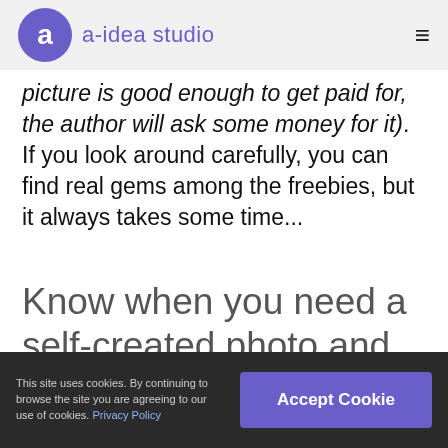a-idea studio
picture is good enough to get paid for, the author will ask some money for it). If you look around carefully, you can find real gems among the freebies, but it always takes some time...
Know when you need a self-created photo and when a stock photo
This site uses cookies. By continuing to browse the site you are agreeing to our use of cookies. Privacy Policy